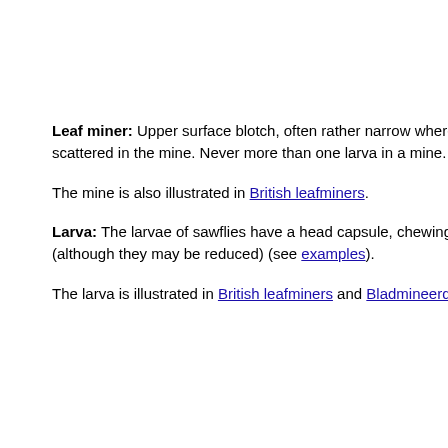Leaf miner: Upper surface blotch, often rather narrow where it begins, but scattered in the mine. Never more than one larva in a mine. Pupation outs
The mine is also illustrated in British leafminers.
Larva: The larvae of sawflies have a head capsule, chewing mouthparts w (although they may be reduced) (see examples).
The larva is illustrated in British leafminers and Bladmineerders van Europ